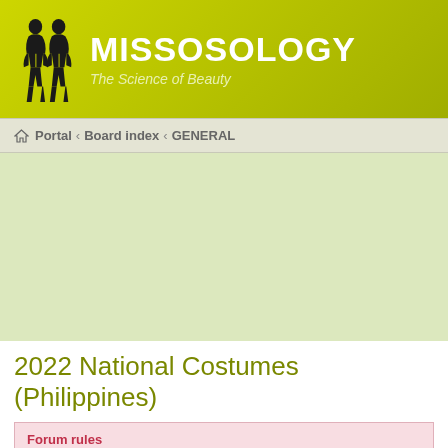MISSOSOLOGY - The Science of Beauty
Portal · Board index · GENERAL
[Figure (other): Advertisement block with light green background]
2022 National Costumes (Philippines)
Forum rules
Welcome to Missosology! RULES: Freedom of speech allowed but 1. NO CROSSING NUDE OR VIOLENT PICS. 2. NO SPAMMING/FLOODING 3. NO ADVERTISING 4. N